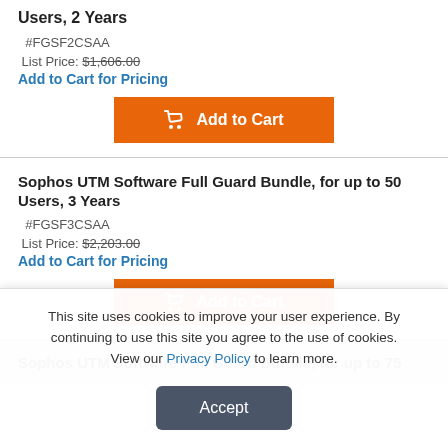Users, 2 Years
#FGSF2CSAA
List Price: $1,606.00
Add to Cart for Pricing
[Figure (other): Orange 'Add to Cart' button with cart icon]
Sophos UTM Software Full Guard Bundle, for up to 50 Users, 3 Years
#FGSF3CSAA
List Price: $2,203.00
Add to Cart for Pricing
[Figure (other): Orange 'Add to Cart' button with cart icon]
Sophos UTM Software Full Guard Bundle, for up to 75
This site uses cookies to improve your user experience. By continuing to use this site you agree to the use of cookies. View our Privacy Policy to learn more.
Accept